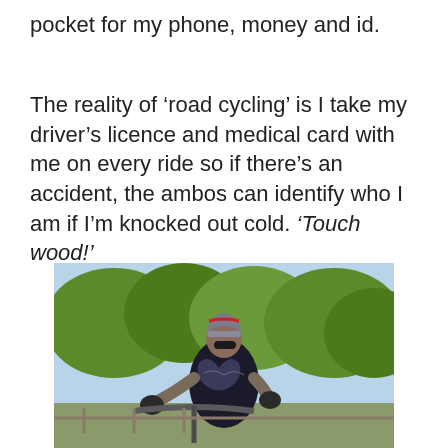pocket for my phone, money and id.
The reality of ‘road cycling’ is I take my driver’s licence and medical card with me on every ride so if there’s an accident, the ambos can identify who I am if I’m knocked out cold. ‘Touch wood!’
[Figure (photo): A cyclist wearing a helmet and patterned cycling jersey standing with a bicycle outdoors, surrounded by trees.]